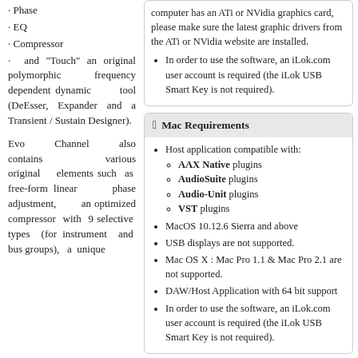· Phase
· EQ
· Compressor
· and "Touch" an original polymorphic frequency dependent dynamic tool (DeEsser, Expander and a Transient / Sustain Designer).
Evo Channel also contains various original elements such as free-form linear phase adjustment, an optimized compressor with 9 selective types (for instrument and bus groups), a unique
computer has an ATi or NVidia graphics card, please make sure the latest graphic drivers from the ATi or NVidia website are installed.
• In order to use the software, an iLok.com user account is required (the iLok USB Smart Key is not required).
Mac Requirements
Host application compatible with: AAX Native plugins, AudioSuite plugins, Audio-Unit plugins, VST plugins
MacOS 10.12.6 Sierra and above
USB displays are not supported.
Mac OS X : Mac Pro 1.1 & Mac Pro 2.1 are not supported.
DAW/Host Application with 64 bit support
In order to use the software, an iLok.com user account is required (the iLok USB Smart Key is not required).